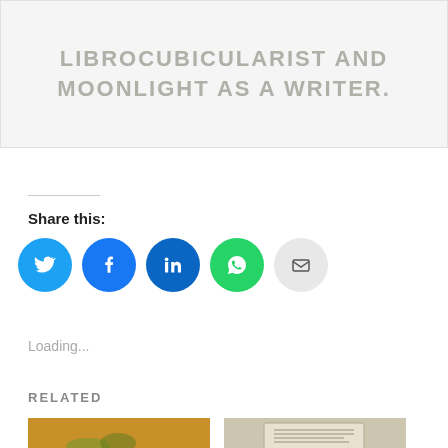[Figure (illustration): Light gray banner/image area with large uppercase gray text: 'LIBROCUBICULARIST AND MOONLIGHT AS A WRITER.']
Share this:
[Figure (infographic): Row of five circular social media share buttons: Twitter (blue with bird icon), Facebook (blue with f icon), LinkedIn (dark blue with in icon), WhatsApp (green with phone icon), Email (light gray with envelope icon)]
Loading...
RELATED
[Figure (photo): Thumbnail image on left showing a person in a yellow/orange outfit at what appears to be a market]
[Figure (photo): Thumbnail image on right showing an open book on a wooden surface]